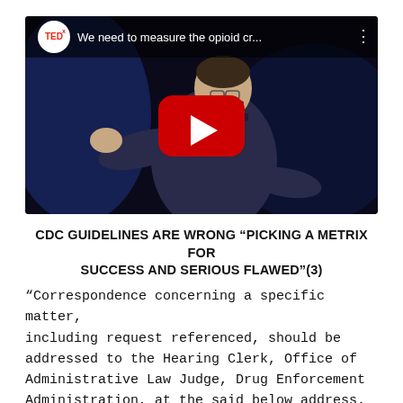[Figure (screenshot): TEDx YouTube video thumbnail showing a man in dark shirt gesturing on stage with play button overlay. Video title: 'We need to measure the opioid cr...']
CDC GUIDELINES ARE WRONG "PICKING A METRIX FOR SUCCESS AND SERIOUS FLAWED"(3)
“Correspondence concerning a specific matter, including request referenced, should be addressed to the Hearing Clerk, Office of Administrative Law Judge, Drug Enforcement Administration, at the said below address. a Prosecutor, whose titled as wholes Assistant